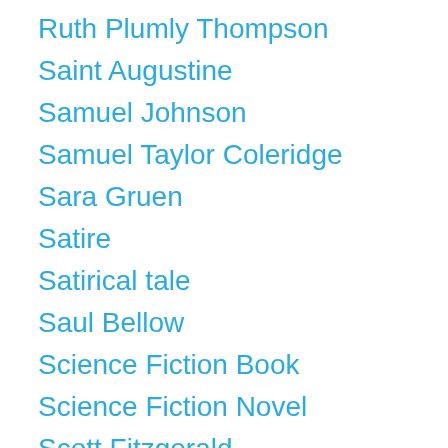Ruth Plumly Thompson
Saint Augustine
Samuel Johnson
Samuel Taylor Coleridge
Sara Gruen
Satire
Satirical tale
Saul Bellow
Science Fiction Book
Science Fiction Novel
Scott Fitzgerald
Self-help book
Semi-autobiographical novel